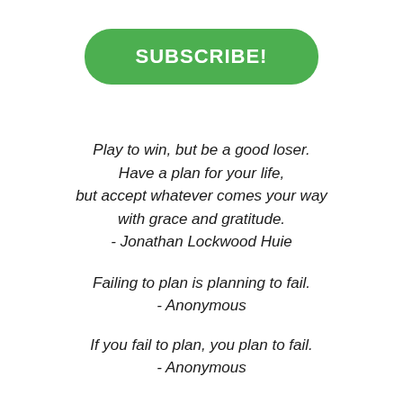SUBSCRIBE!
Play to win, but be a good loser.
Have a plan for your life,
but accept whatever comes your way
with grace and gratitude.
- Jonathan Lockwood Huie
Failing to plan is planning to fail.
- Anonymous
If you fail to plan, you plan to fail.
- Anonymous